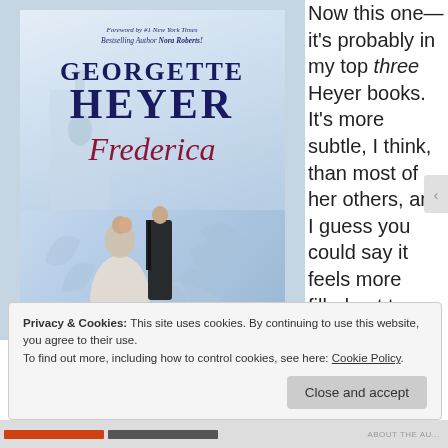[Figure (photo): Photo of a hardcover book 'Frederica' by Georgette Heyer, with foreword by #1 New York Times Bestselling Author Nora Roberts. Cover shows a Regency-era couple with floral decorations on a blue-white background.]
Now this one—it's probably in my top three Heyer books. It's more subtle, I think, than most of her others, and I guess you could say it feels more filled out too. More complete
Privacy & Cookies: This site uses cookies. By continuing to use this website, you agree to their use.
To find out more, including how to control cookies, see here: Cookie Policy
Close and accept